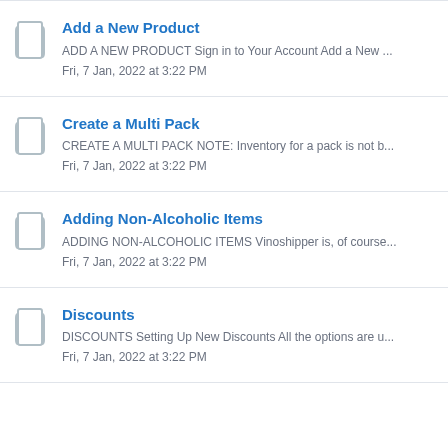Add a New Product
ADD A NEW PRODUCT Sign in to Your Account Add a New ...
Fri, 7 Jan, 2022 at 3:22 PM
Create a Multi Pack
CREATE A MULTI PACK NOTE: Inventory for a pack is not b...
Fri, 7 Jan, 2022 at 3:22 PM
Adding Non-Alcoholic Items
ADDING NON-ALCOHOLIC ITEMS Vinoshipper is, of course...
Fri, 7 Jan, 2022 at 3:22 PM
Discounts
DISCOUNTS Setting Up New Discounts All the options are u...
Fri, 7 Jan, 2022 at 3:22 PM